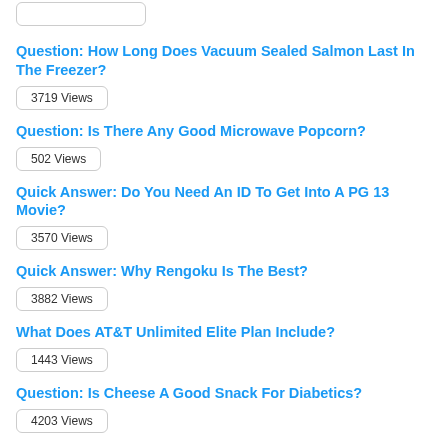[Figure (other): Truncated stub box at top of page]
Question: How Long Does Vacuum Sealed Salmon Last In The Freezer?
3719 Views
Question: Is There Any Good Microwave Popcorn?
502 Views
Quick Answer: Do You Need An ID To Get Into A PG 13 Movie?
3570 Views
Quick Answer: Why Rengoku Is The Best?
3882 Views
What Does AT&T Unlimited Elite Plan Include?
1443 Views
Question: Is Cheese A Good Snack For Diabetics?
4203 Views
Can You Cancel Fandango Tickets?